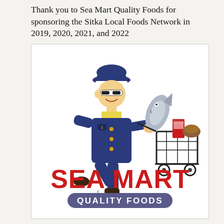Thank you to Sea Mart Quality Foods for sponsoring the Sitka Local Foods Network in 2019, 2020, 2021, and 2022
[Figure (logo): Sea Mart Quality Foods logo: cartoon sailor in blue uniform pushing a shopping cart filled with a fish, milk carton, and bread loaf, with 'SEA MART' in large red letters and 'QUALITY FOODS' in a purple rounded pill below.]